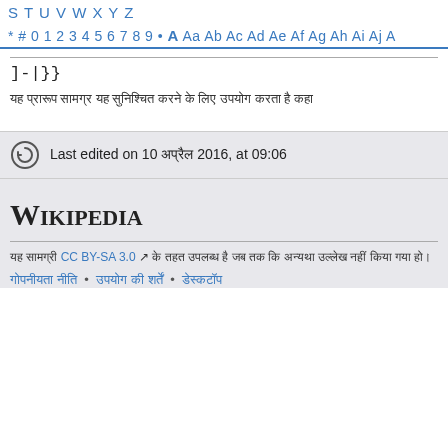S T U V W X Y Z
* # 0 1 2 3 4 5 6 7 8 9 • A Aa Ab Ac Ad Ae Af Ag Ah Ai Aj A
]-|}}}
यह प्रारूप सामग्र यह सुनिश्चित करने के लिए उपयोग करता है कहा
Last edited on 10 अप्रैल 2016, at 09:06
[Figure (logo): Wikipedia logo text]
यह सामग्री CC BY-SA 3.0 के तहत उपलब्ध है जब तक कि अन्यथा उल्लेख नहीं किया गया हो।
गोपनीयता नीति • उपयोग की शर्तें • डेस्कटॉप